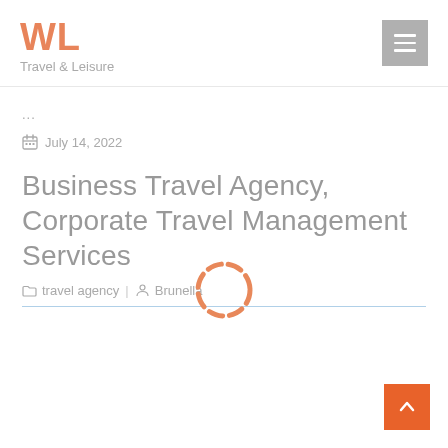WL Travel & Leisure
...
July 14, 2022
Business Travel Agency, Corporate Travel Management Services
travel agency | Brunella
[Figure (other): Orange dashed circular loading/spinner icon overlaid on the article title area]